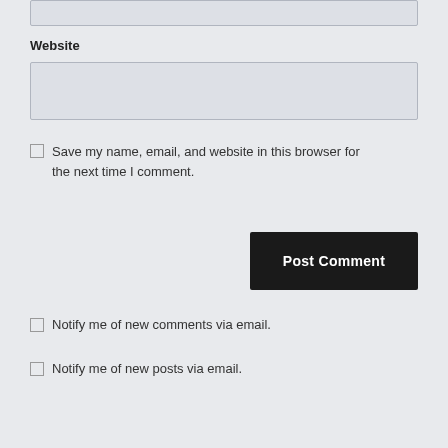[Figure (screenshot): Top of a text input box (partially visible at top of page)]
Website
[Figure (screenshot): Website text input field (empty, light gray background)]
Save my name, email, and website in this browser for the next time I comment.
Post Comment
Notify me of new comments via email.
Notify me of new posts via email.